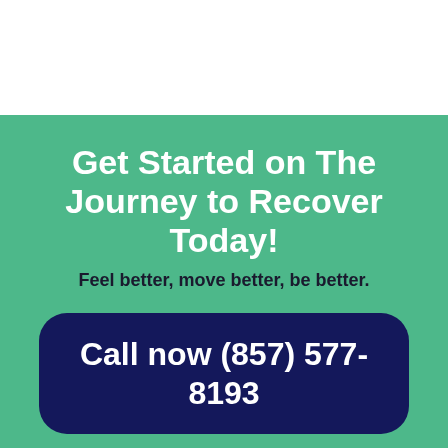Get Started on The Journey to Recover Today!
Feel better, move better, be better.
Call now (857) 577-8193
Ready to get help? Our helpline is available 2
Who Answers